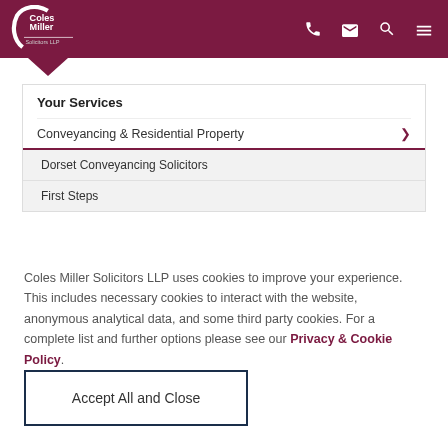Coles Miller Solicitors LLP – navigation header
Your Services
Conveyancing & Residential Property
Dorset Conveyancing Solicitors
First Steps
Coles Miller Solicitors LLP uses cookies to improve your experience. This includes necessary cookies to interact with the website, anonymous analytical data, and some third party cookies. For a complete list and further options please see our Privacy & Cookie Policy.
Accept All and Close